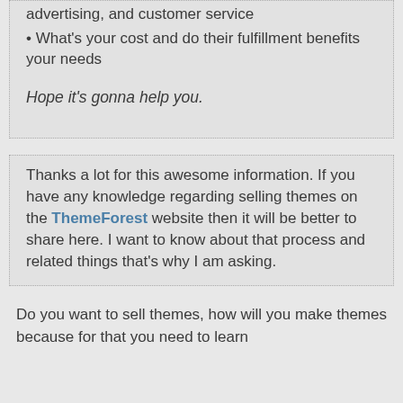advertising, and customer service
What's your cost and do their fulfillment benefits your needs
Hope it's gonna help you.
Thanks a lot for this awesome information. If you have any knowledge regarding selling themes on the ThemeForest website then it will be better to share here. I want to know about that process and related things that's why I am asking.
Do you want to sell themes, how will you make themes because for that you need to learn